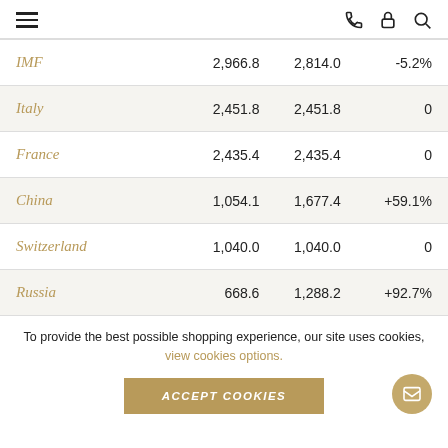Navigation header with hamburger menu, phone icon, lock icon, search icon
|  | Col1 | Col2 | Col3 |
| --- | --- | --- | --- |
| IMF | 2,966.8 | 2,814.0 | -5.2% |
| Italy | 2,451.8 | 2,451.8 | 0 |
| France | 2,435.4 | 2,435.4 | 0 |
| China | 1,054.1 | 1,677.4 | +59.1% |
| Switzerland | 1,040.0 | 1,040.0 | 0 |
| Russia | 668.6 | 1,288.2 | +92.7% |
To provide the best possible shopping experience, our site uses cookies, view cookies options.
ACCEPT COOKIES